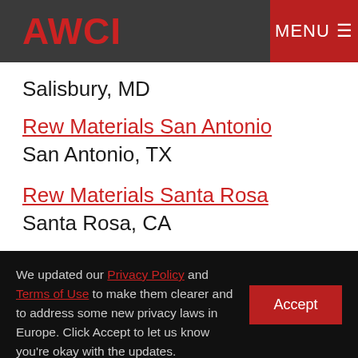AWCI | MENU
Salisbury, MD
Rew Materials San Antonio
San Antonio, TX
Rew Materials Santa Rosa
Santa Rosa, CA
Rew Materials Springfield
Springfield, MO
Rew Materials Topeka
We updated our Privacy Policy and Terms of Use to make them clearer and to address some new privacy laws in Europe. Click Accept to let us know you're okay with the updates. | Accept